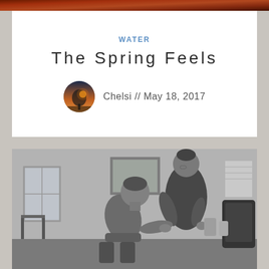[Figure (photo): Partial view of a reddish-orange photo strip at the very top of the page]
WATER
The Spring Feels
[Figure (photo): Small circular author avatar showing a winter/sunset landscape scene]
Chelsi // May 18, 2017
[Figure (photo): Black and white photograph of a man kneeling and leaning forward toward a seated woman in what appears to be a hospital or clinical room setting, with a framed picture on the wall and medical equipment visible]